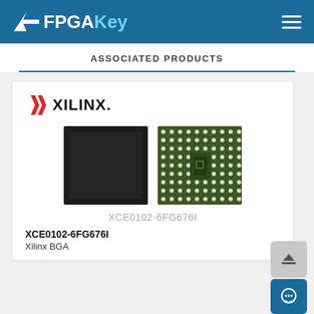FPGAKey
ASSOCIATED PRODUCTS
[Figure (logo): Xilinx logo with red arrow icon and bold XILINX text]
[Figure (photo): Two views of XCE0102-6FG676I Xilinx BGA chip: top view (dark) and bottom view showing solder balls on green PCB]
XCE0102-6FG676I
XCE0102-6FG676I
Xilinx BGA